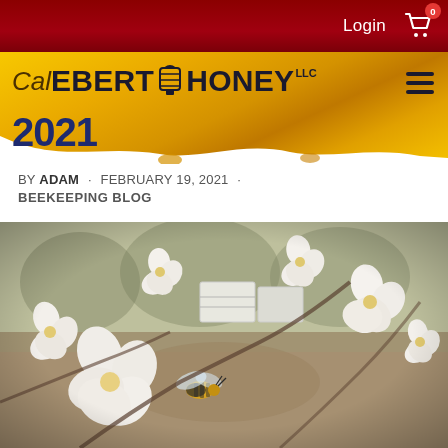Login  0
Cal EBERT HONEY LLC 2021
BY ADAM · FEBRUARY 19, 2021 · BEEKEEPING BLOG
[Figure (photo): A honeybee pollinating white almond blossoms on a branch, with white beehive boxes visible in the background orchard.]